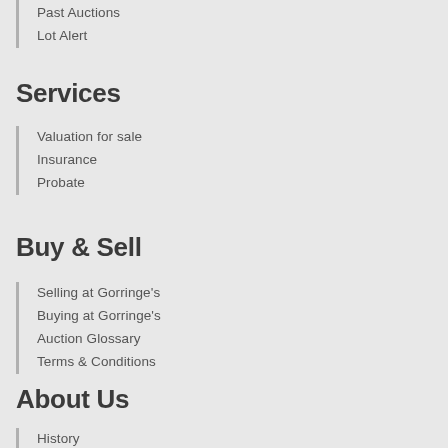Past Auctions
Lot Alert
Services
Valuation for sale
Insurance
Probate
Buy & Sell
Selling at Gorringe's
Buying at Gorringe's
Auction Glossary
Terms & Conditions
About Us
History
[Figure (other): Scroll to top button - circular dark grey button with white upward arrow]